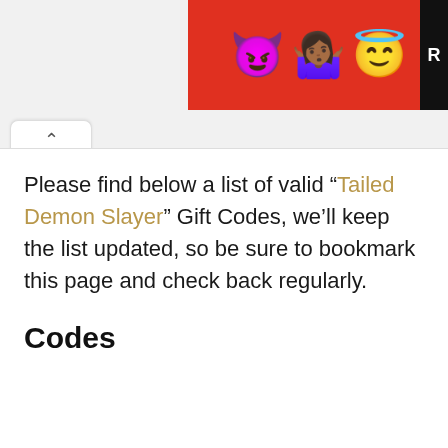[Figure (illustration): Advertisement banner with red background showing emoji characters: purple devil, woman shrugging with medium-dark skin tone, and angel face emoji, with a black box on the right edge containing the letter R]
Please find below a list of valid “Tailed Demon Slayer” Gift Codes, we’ll keep the list updated, so be sure to bookmark this page and check back regularly.
Codes